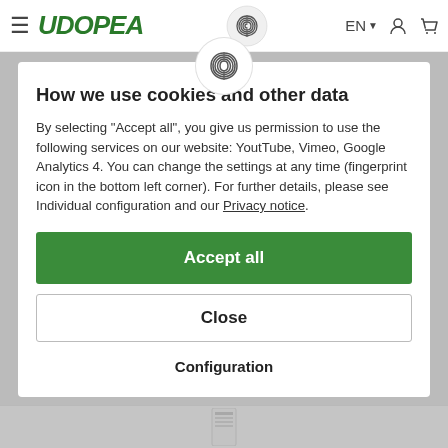[Figure (logo): UDOPEA green italic logo with hamburger menu icon on left]
[Figure (logo): Fingerprint icon in navigation bar center]
How we use cookies and other data
By selecting "Accept all", you give us permission to use the following services on our website: YoutTube, Vimeo, Google Analytics 4. You can change the settings at any time (fingerprint icon in the bottom left corner). For further details, please see Individual configuration and our Privacy notice.
Accept all
Close
Configuration